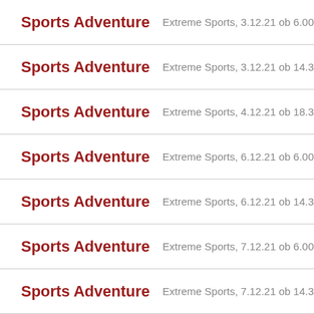Sports Adventure  Extreme Sports, 3.12.21 ob 6.00
Sports Adventure  Extreme Sports, 3.12.21 ob 14.30
Sports Adventure  Extreme Sports, 4.12.21 ob 18.30
Sports Adventure  Extreme Sports, 6.12.21 ob 6.00
Sports Adventure  Extreme Sports, 6.12.21 ob 14.30
Sports Adventure  Extreme Sports, 7.12.21 ob 6.00
Sports Adventure  Extreme Sports, 7.12.21 ob 14.30